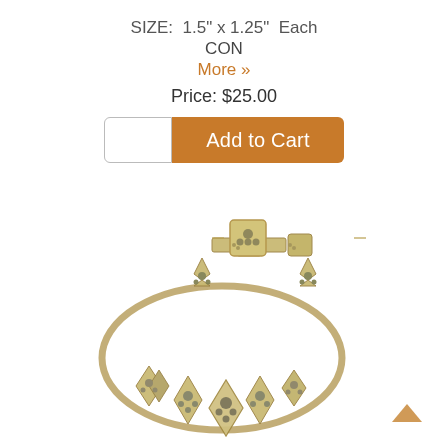SIZE:  1.5" x 1.25"  Each
CON
More »
Price: $25.00
[Figure (photo): Gold and silver tone vintage jewelry set including a necklace and bracelet/earring pieces with star and floral motifs, arranged in an oval shape on a white background.]
[Figure (illustration): Back to top arrow icon in orange/tan color, bottom right corner.]